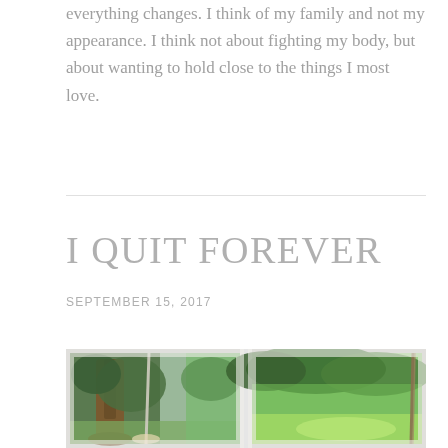everything changes. I think of my family and not my appearance. I think not about fighting my body, but about wanting to hold close to the things I most love.
I QUIT FOREVER
SEPTEMBER 15, 2017
[Figure (photo): Two outdoor photos side by side showing trees, green foliage, and a person on a rope swing. Left photo: brown tree trunk and roots in foreground, dense trees behind; person's legs/feet visible at bottom on a swing. Right photo: lush green trees, sunlit grass below, rope swing visible on right side.]